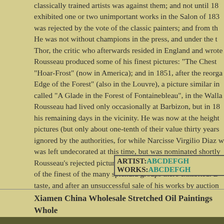classically trained artists was against them; and not until 18... exhibited one or two unimportant works in the Salon of 183... was rejected by the vote of the classic painters; and from th... He was not without champions in the press, and under the t... Thor, the critic who afterwards resided in England and wrote... Rousseau produced some of his finest pictures: "The Chest... "Hoar-Frost" (now in America); and in 1851, after the reorga... Edge of the Forest" (also in the Louvre), a picture similar in... called "A Glade in the Forest of Fontainebleau", in the Walla... Rousseau had lived only occasionally at Barbizon, but in 18... his remaining days in the vicinity. He was now at the height... pictures (but only about one-tenth of their value thirty years ... ignored by the authorities, for while Narcisse Virgilio Diaz w... was left undecorated at this time, but was nominated shortly... Rousseau's rejected pictures of the previous twenty years w... of the finest of the many splendid groups there exhibited. B... taste, and after an unsuccessful sale of his works by auction...
| ARTIST: | ABCDEFGH |
| --- | --- |
| WORKS: | ABCDEFGH |
Xiamen China Wholesale Stretched Oil Paintings Whole...
http://www.ch...
China Oil Pa...